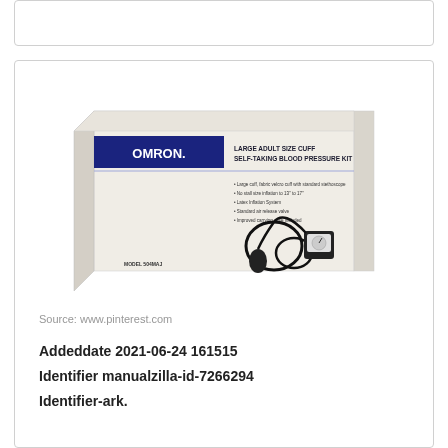[Figure (photo): Omron Large Adult Size Cuff Self-Taking Blood Pressure Kit product box, model 504MAJ, showing the box with blue Omron branding and a stethoscope/blood pressure monitor illustration.]
Source: www.pinterest.com
Addeddate 2021-06-24 161515
Identifier manualzilla-id-7266294
Identifier-ark.